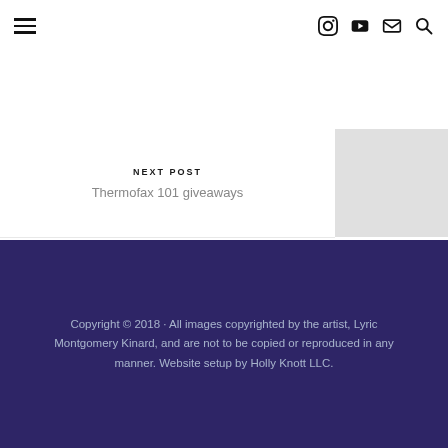Navigation bar with hamburger menu and social icons (Instagram, YouTube, Mail, Search)
NEXT POST
Thermofax 101 giveaways
Copyright © 2018 · All images copyrighted by the artist, Lyric Montgomery Kinard, and are not to be copied or reproduced in any manner. Website setup by Holly Knott LLC.